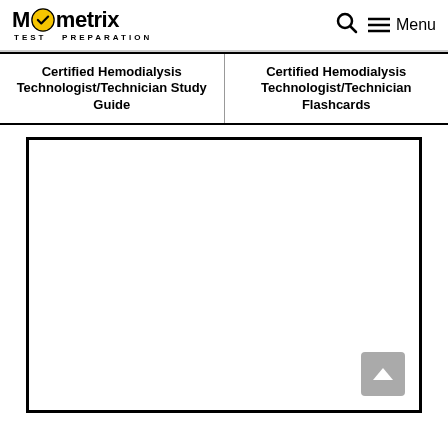Mometrix TEST PREPARATION
| Certified Hemodialysis Technologist/Technician Study Guide | Certified Hemodialysis Technologist/Technician Flashcards |
| --- | --- |
[Figure (other): Large empty white content box with a black border and a gray scroll-to-top button in the bottom right corner]